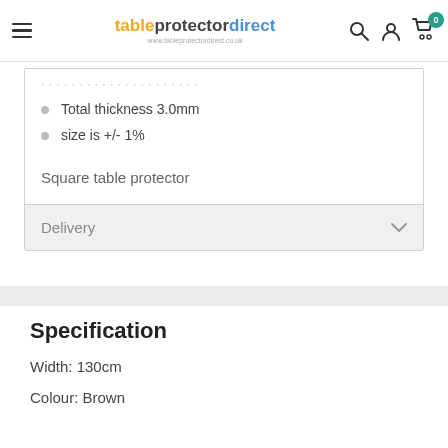tableprotectordirect — navigation header with search, account, and cart icons
Total thickness 3.0mm
size is +/- 1%
Square table protector
Delivery
Specification
Width: 130cm
Colour: Brown